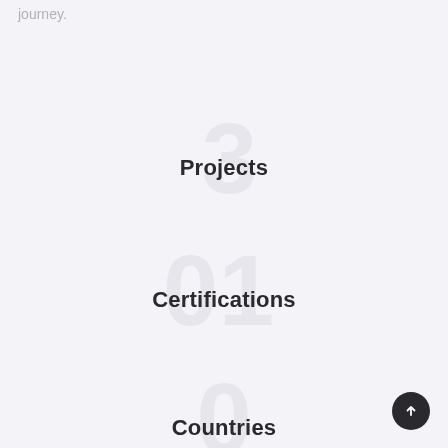journey.
Projects
Certifications
Countries